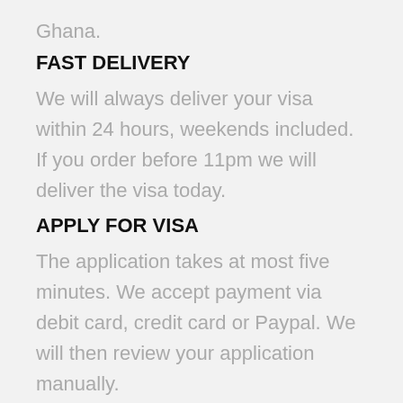Ghana.
FAST DELIVERY
We will always deliver your visa within 24 hours, weekends included. If you order before 11pm we will deliver the visa today.
APPLY FOR VISA
The application takes at most five minutes. We accept payment via debit card, credit card or Paypal. We will then review your application manually.